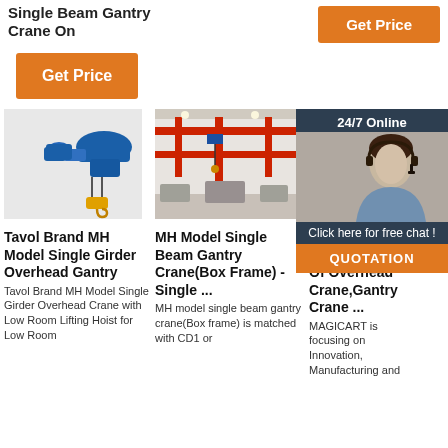Single Beam Gantry Crane On
[Figure (other): Orange Get Price button (top right)]
[Figure (other): Orange Get Price button (left side)]
[Figure (photo): Blue electric hoist/crane hook device]
[Figure (photo): MH Model Single Beam Gantry Crane (Box Frame) in factory setting with red beams]
[Figure (photo): Profile photo of gantry crane in warehouse]
[Figure (other): 24/7 Online chat panel with customer service rep photo and QUOTATION button]
Tavol Brand MH Model Single Girder Overhead Gantry
Tavol Brand MH Model Single Girder Overhead Crane with Low Room Lifting Hoist for Low Room
MH Model Single Beam Gantry Crane(Box Frame) - Single ...
MH model single beam gantry crane(Box frame) is matched with CD1 or
Profile_A Leading Brand Of Overhead Crane,Gantry Crane ...
MAGICART is focusing on Innovation, Manufacturing and